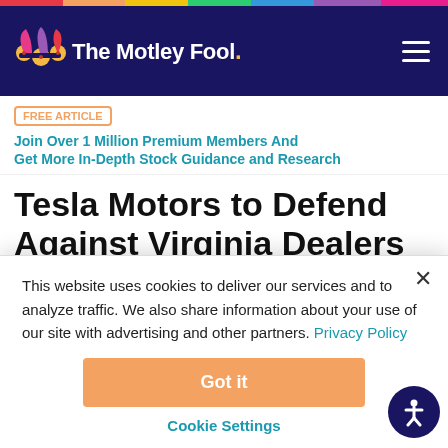[Figure (logo): The Motley Fool logo with jester hat icon on dark navy background header]
FREE ARTICLE  Join Over 1 Million Premium Members And Get More In-Depth Stock Guidance and Research
Tesla Motors to Defend Against Virginia Dealers
By Evan Niu, CFA – Mar 11, 2016 at 12:20PM
This website uses cookies to deliver our services and to analyze traffic. We also share information about your use of our site with advertising and other partners. Privacy Policy
Got it
Cookie Settings